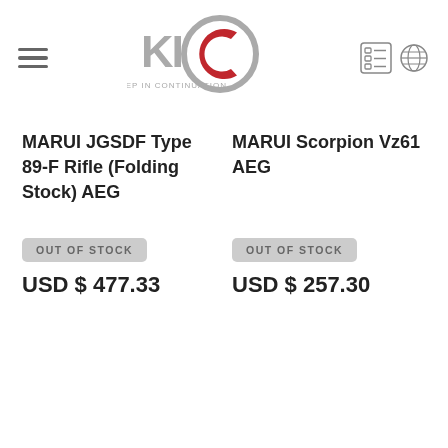KIC KEEP IN CONTINUATION
MARUI JGSDF Type 89-F Rifle (Folding Stock) AEG
MARUI Scorpion Vz61 AEG
OUT OF STOCK
OUT OF STOCK
USD $ 477.33
USD $ 257.30